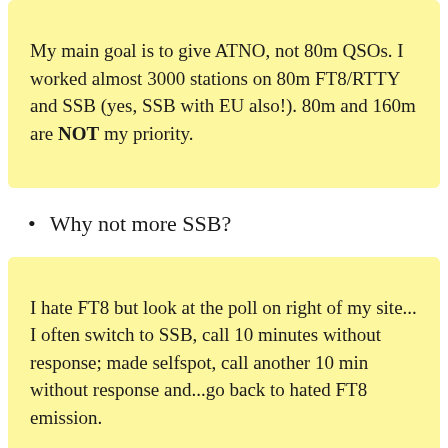My main goal is to give ATNO, not 80m QSOs. I worked almost 3000 stations on 80m FT8/RTTY and SSB (yes, SSB with EU also!). 80m and 160m are NOT my priority.
Why not more SSB?
I hate FT8 but look at the poll on right of my site... I often switch to SSB, call 10 minutes without response; made selfspot, call another 10 min without response and...go back to hated FT8 emission.